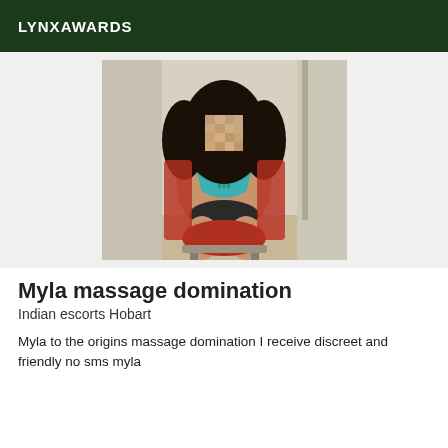LYNXAWARDS
[Figure (photo): A woman with curly dark hair posing, wearing a teal top and dark bottoms, face blurred/pixelated, sitting in a room]
Myla massage domination
Indian escorts Hobart
Myla to the origins massage domination I receive discreet and friendly no sms myla